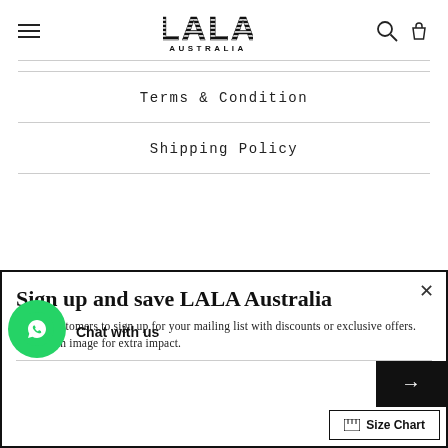[Figure (logo): LALA Australia logo with bold striped lettering and AUSTRALIA text below]
Terms & Condition
Shipping Policy
Sign up and save LALA Australia
Entice customers to sign up for your mailing list with discounts or exclusive offers. Include an image for extra impact.
Chat with us